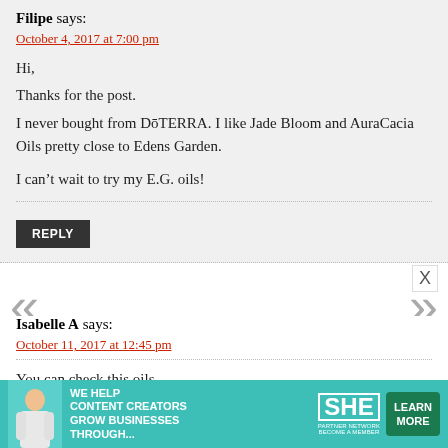Filipe says:
October 4, 2017 at 7:00 pm
Hi,
Thanks for the post.
I never bought from DōTERRA. I like Jade Bloom and AuraCacia Oils pretty close to Edens Garden.
I can't wait to try my E.G. oils!
REPLY
Isabelle A says:
October 11, 2017 at 12:45 pm
You can check this oils
https://www.essentialoilhaven.com/now-foods-essential-oils-review/
https://divineessence.com/en/
[Figure (infographic): SHE Partner Network advertisement banner with teal background, text 'We help content creators grow businesses through...', SHE logo, and green Learn More button]